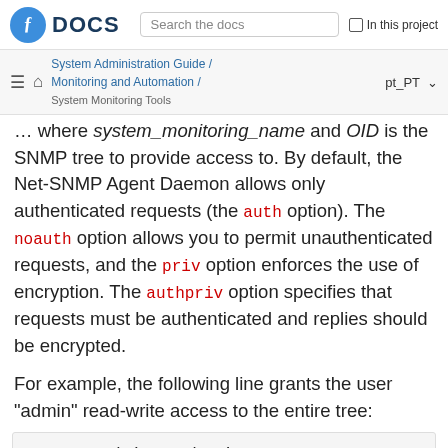DOCS | Search the docs | In this project
System Administration Guide / Monitoring and Automation / System Monitoring Tools | pt_PT
… where system_monitoring_name and OID is the SNMP tree to provide access to. By default, the Net-SNMP Agent Daemon allows only authenticated requests (the auth option). The noauth option allows you to permit unauthenticated requests, and the priv option enforces the use of encryption. The authpriv option specifies that requests must be authenticated and replies should be encrypted.

For example, the following line grants the user "admin" read-write access to the entire tree:
rwuser admin authpriv .1